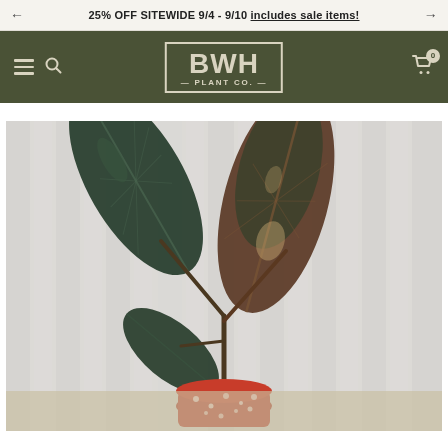25% OFF SITEWIDE 9/4 - 9/10 includes sale items!
[Figure (logo): BWH Plant Co. logo in a rectangular border, light tan color on dark olive green navigation bar]
[Figure (photo): A philodendron or similar tropical houseplant with large dark green and bronze/brown leaves, potted in a red pot with white speckles, photographed against a corrugated metal or curtain background]